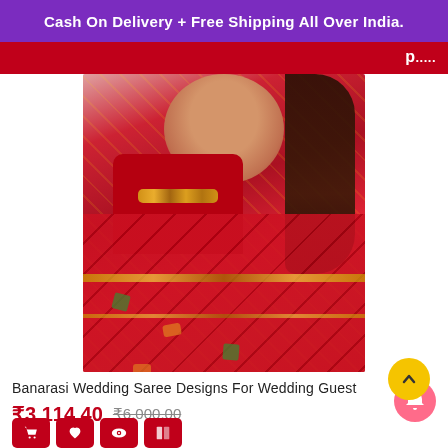Cash On Delivery + Free Shipping All Over India.
[Figure (photo): Woman wearing a red Banarasi wedding saree with gold zari work, gold jewelry including choker necklace and jhumka earrings, and pearl bracelet. She has long wavy dark hair and poses with one hand raised near her face.]
Banarasi Wedding Saree Designs For Wedding Guest
₹3,114.40  ₹6,000.00